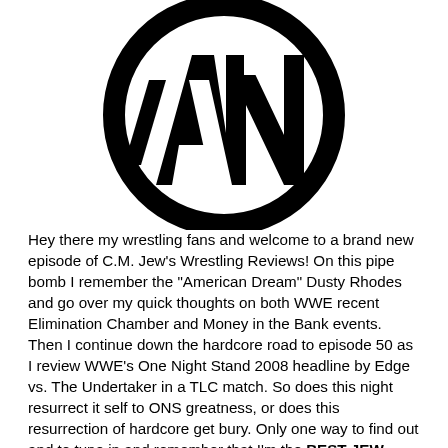[Figure (logo): Black circular logo with stylized 'AN' letters inside a bold circle, wrestling/podcast brand logo]
Hey there my wrestling fans and welcome to a brand new episode of C.M. Jew's Wrestling Reviews! On this pipe bomb I remember the “American Dream” Dusty Rhodes and go over my quick thoughts on both WWE recent Elimination Chamber and Money in the Bank events. Then I continue down the hardcore road to episode 50 as I review WWE’s One Night Stand 2008 headline by Edge vs. The Undertaker in a TLC match. So does this night resurrect it self to ONS greatness, or does this resurrection of hardcore get bury. Only one way to find out and to tune in and remember that I’m the BEST JEW